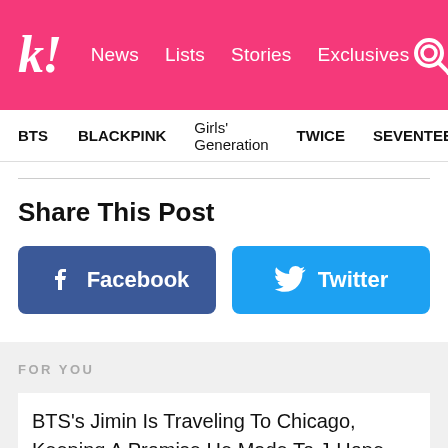k! News Lists Stories Exclusives
BTS  BLACKPINK  Girls' Generation  TWICE  SEVENTEEN
Share This Post
[Figure (other): Facebook share button (blue, with Facebook logo)]
[Figure (other): Twitter share button (light blue, with Twitter bird logo)]
FOR YOU
BTS's Jimin Is Traveling To Chicago, Keeping A Promise He Made To J-Hope Months Ago